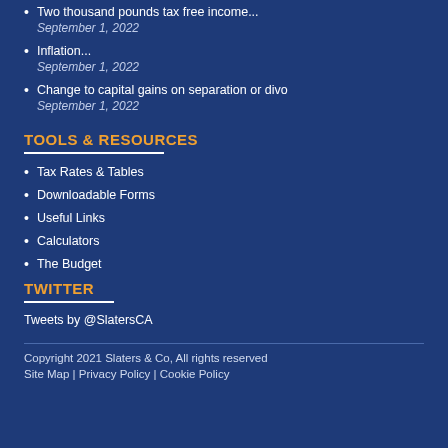Two thousand pounds tax free income... September 1, 2022
Inflation... September 1, 2022
Change to capital gains on separation or divo September 1, 2022
TOOLS & RESOURCES
Tax Rates & Tables
Downloadable Forms
Useful Links
Calculators
The Budget
TWITTER
Tweets by @SlatersCA
Copyright 2021 Slaters & Co, All rights reserved
Site Map | Privacy Policy | Cookie Policy